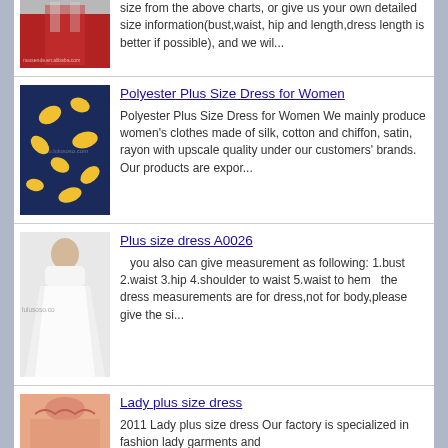[Figure (photo): Partial view of a red evening gown with watermark nuosende.en.alibaba.com]
size from the above charts, or give us your own detailed size information(bust,waist, hip and length,dress length is better if possible), and we wil...
[Figure (photo): Dark blue and yellow patterned polyester plus size dress with watermark]
Polyester Plus Size Dress for Women
Polyester Plus Size Dress for Women We mainly produce women's clothes made of silk, cotton and chiffon, satin, rayon with upscale quality under our customers' brands. Our products are expor...
[Figure (photo): White plus size wedding dress A0026 with watermark lulusoso.com]
Plus size dress A0026
you also can give measurement as following: 1.bust 2.waist 3.hip 4.shoulder to waist 5.waist to hem   the dress measurements are for dress,not for body,please give the si...
[Figure (photo): Peach/pink lady plus size dress on mannequin]
Lady plus size dress
2011 Lady plus size dress Our factory is specialized in fashion lady garments and